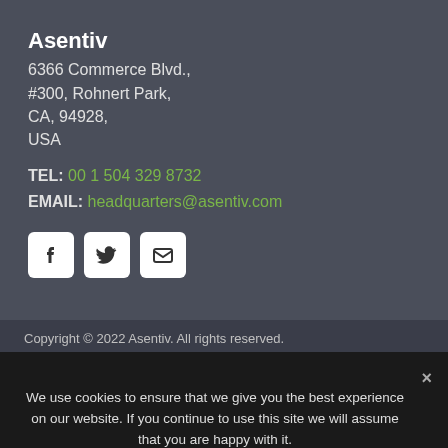Asentiv
6366 Commerce Blvd.,
#300, Rohnert Park,
CA, 94928,
USA
TEL: 00 1 504 329 8732
EMAIL: headquarters@asentiv.com
[Figure (illustration): Social media icons: Facebook, Twitter, Email]
Copyright © 2022 Asentiv. All rights reserved.
We use cookies to ensure that we give you the best experience on our website. If you continue to use this site we will assume that you are happy with it.
OK   READ MORE